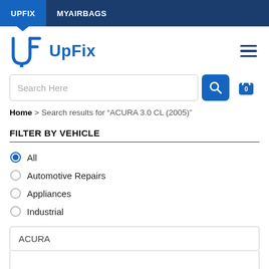UPFIX   MYAIRBAGS
[Figure (logo): UpFix logo with stylized UF letters in blue and hamburger menu icon]
Search Here
Home > Search results for "ACURA 3.0 CL (2005)"
FILTER BY VEHICLE
All (selected)
Automotive Repairs
Appliances
Industrial
ACURA